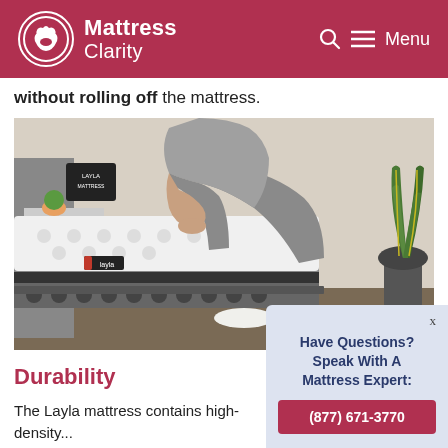Mattress Clarity
without rolling off the mattress.
[Figure (photo): Person sitting on edge of a Layla mattress on a bed frame, pressing hand into the mattress side. A snake plant in a dark pot is visible in the background to the right. A small shelf with plants is visible in the upper left background.]
Durability
The Layla mattress contains high-density...